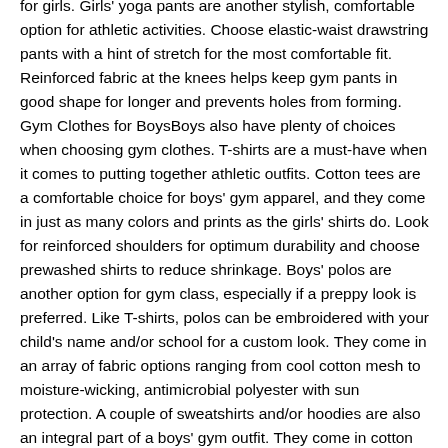for girls. Girls' yoga pants are another stylish, comfortable option for athletic activities. Choose elastic-waist drawstring pants with a hint of stretch for the most comfortable fit. Reinforced fabric at the knees helps keep gym pants in good shape for longer and prevents holes from forming. Gym Clothes for BoysBoys also have plenty of choices when choosing gym clothes. T-shirts are a must-have when it comes to putting together athletic outfits. Cotton tees are a comfortable choice for boys' gym apparel, and they come in just as many colors and prints as the girls' shirts do. Look for reinforced shoulders for optimum durability and choose prewashed shirts to reduce shrinkage. Boys' polos are another option for gym class, especially if a preppy look is preferred. Like T-shirts, polos can be embroidered with your child's name and/or school for a custom look. They come in an array of fabric options ranging from cool cotton mesh to moisture-wicking, antimicrobial polyester with sun protection. A couple of sweatshirts and/or hoodies are also an integral part of a boys' gym outfit. They come in cotton and polyester fabrics, and some are lined with sherpa fleece for a super-soft feel. Boys can layer a sweatshirt over their T-shirt or polo for extra warmth. These tops come in a variety of colors, including basics like black, white,